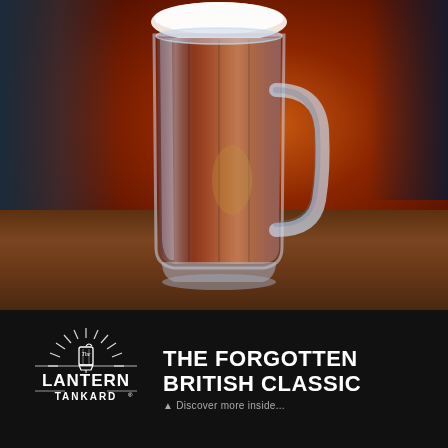[Figure (photo): Close-up photograph of a glass beer tankard filled with amber/red ale beer with a white foam head, sitting on a wooden pub table with dark blurred background]
[Figure (logo): The Lantern Tankard logo — circular badge design with rays emanating from top, stylized lantern icon in center, text 'The LANTERN TANKARD' with registered trademark symbol]
THE FORGOTTEN BRITISH CLASSIC
Discover...